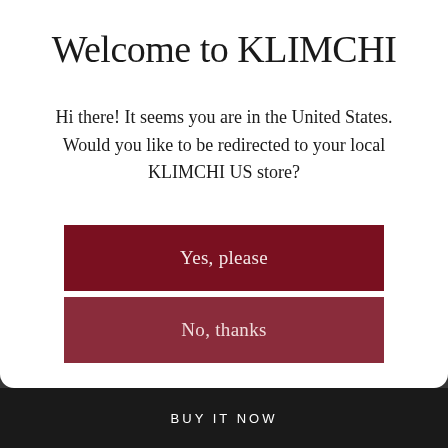Welcome to KLIMCHI
Hi there! It seems you are in the United States. Would you like to be redirected to your local KLIMCHI US store?
Yes, please
No, thanks
BUY IT NOW